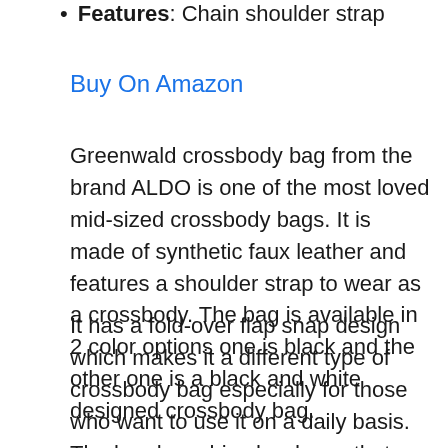Features: Chain shoulder strap
Buy On Amazon
Greenwald crossbody bag from the brand ALDO is one of the most loved mid-sized crossbody bags. It is made of synthetic faux leather and features a shoulder strap to wear as a crossbody. The bag is available in 2 color options one is black and the other one is a black and white designed crossbody bag.
It has a fold-over flap snap design which makes it a different type of crossbody bag especially for those who want to use it on a daily basis. The bag has shiny hardware that makes a great impression.